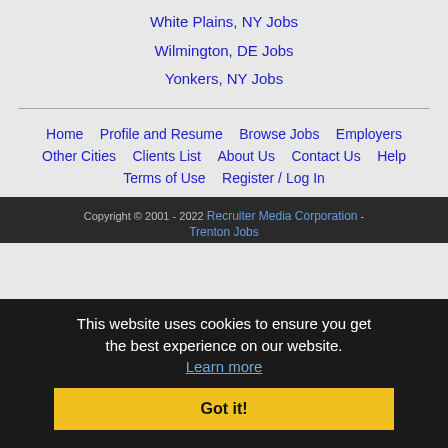White Plains, NY Jobs
Wilmington, DE Jobs
Yonkers, NY Jobs
Home | Profile and Resume | Browse Jobs | Employers | Other Cities | Clients List | About Us | Contact Us | Help | Terms of Use | Register / Log In
Copyright © 2001 - 2022 Recruiter Media Corporation - Trenton Jobs
This website uses cookies to ensure you get the best experience on our website. Learn more
Got it!